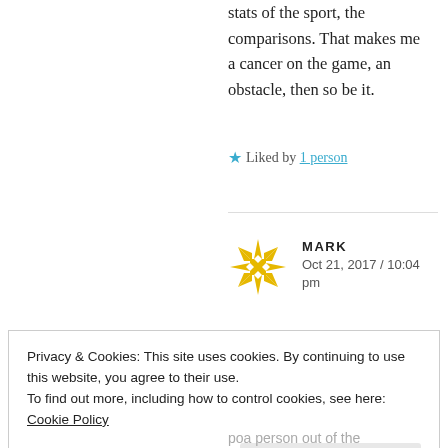stats of the sport, the comparisons. That makes me a cancer on the game, an obstacle, then so be it.
★ Liked by 1 person
MARK
Oct 21, 2017 / 10:04 pm
Privacy & Cookies: This site uses cookies. By continuing to use this website, you agree to their use.
To find out more, including how to control cookies, see here: Cookie Policy
Close and accept
poa person out of the